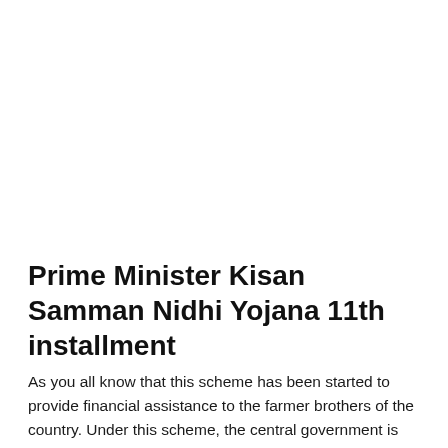Prime Minister Kisan Samman Nidhi Yojana 11th installment
As you all know that this scheme has been started to provide financial assistance to the farmer brothers of the country. Under this scheme, the central government is providing financial assistance of Rs 6000 per year to many farmers of